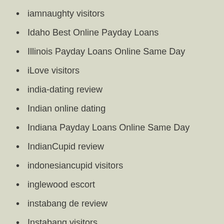iamnaughty visitors
Idaho Best Online Payday Loans
Illinois Payday Loans Online Same Day
iLove visitors
india-dating review
Indian online dating
Indiana Payday Loans Online Same Day
IndianCupid review
indonesiancupid visitors
inglewood escort
instabang de review
Instabang visitors
installment loan online same day
installment loans
installment loans definition